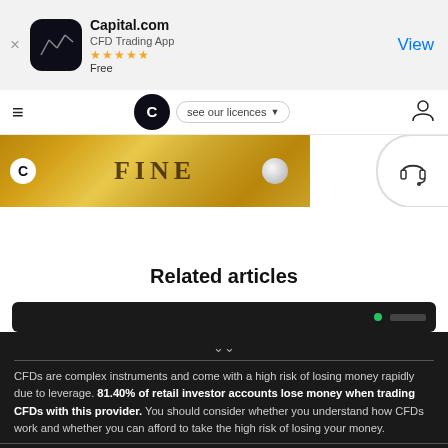[Figure (screenshot): App store banner for Capital.com CFD Trading App with 5 stars rating, Free, and View button]
[Figure (screenshot): Navigation bar with hamburger menu, Capital.com logo, see our licences dropdown, and user profile icon]
[Figure (photo): Gold bars image with text FINE and Capital.com logo overlay]
[Figure (illustration): Headset/support icon in circular button on right side]
Related articles
[Figure (screenshot): Dark article card preview thumbnail]
CFDs are complex instruments and come with a high risk of losing money rapidly due to leverage. 81.40% of retail investor accounts lose money when trading CFDs with this provider. You should consider whether you understand how CFDs work and whether you can afford to take the high risk of losing your money.
By using the Capital.com website you agree to the use of cookies.